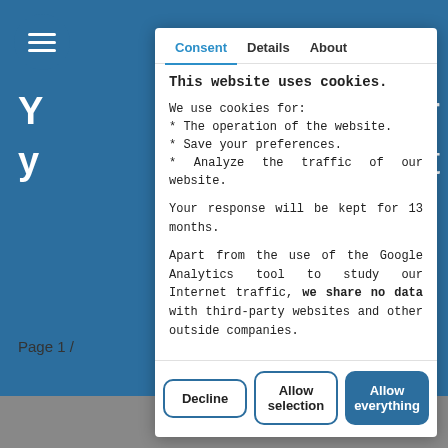[Figure (screenshot): Cookie consent modal dialog overlaid on a blue website background. The modal has three tabs: Consent (active, in blue), Details, and About. The body contains a title 'This website uses cookies.' followed by explanatory text about cookie usage, data retention for 13 months, and a statement that no data is shared with third parties. Three buttons at the bottom: Decline, Allow selection, and Allow everything (filled blue).]
This website uses cookies.
We use cookies for:
* The operation of the website.
* Save your preferences.
* Analyze the traffic of our website.
Your response will be kept for 13 months.
Apart from the use of the Google Analytics tool to study our Internet traffic, we share no data with third-party websites and other outside companies.